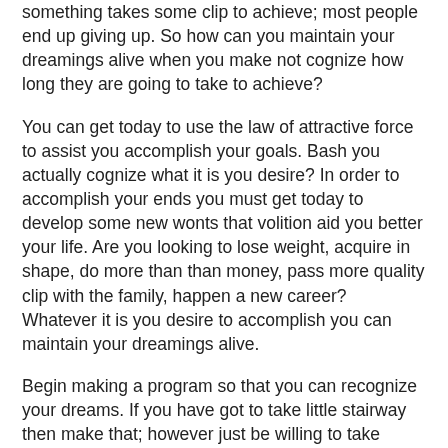something takes some clip to achieve; most people end up giving up. So how can you maintain your dreamings alive when you make not cognize how long they are going to take to achieve?
You can get today to use the law of attractive force to assist you accomplish your goals. Bash you actually cognize what it is you desire? In order to accomplish your ends you must get today to develop some new wonts that volition aid you better your life. Are you looking to lose weight, acquire in shape, do more than than money, pass more quality clip with the family, happen a new career? Whatever it is you desire to accomplish you can maintain your dreamings alive.
Begin making a program so that you can recognize your dreams. If you have got to take little stairway then make that; however just be willing to take action. Without any action you will not maintain your dreamings alive. If you make not win in completing the stairway that you put for yourself make not give up. Be certain to stay flexible and make not be scared to take a roundabout way if you must. All successful people have got learned that sometimes you must travel down a different way in order to attain your ultimate goal.